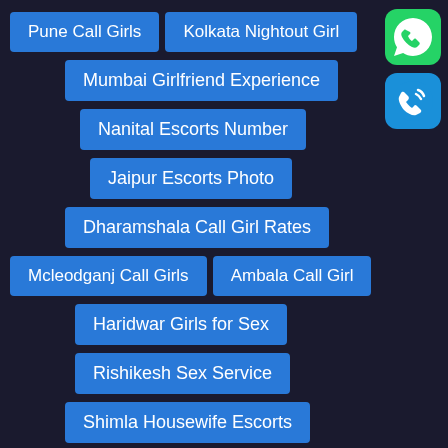Pune Call Girls
Kolkata Nightout Girl
Mumbai Girlfriend Experience
Nanital Escorts Number
Jaipur Escorts Photo
Dharamshala Call Girl Rates
Mcleodganj Call Girls
Ambala Call Girl
Haridwar Girls for Sex
Rishikesh Sex Service
Shimla Housewife Escorts